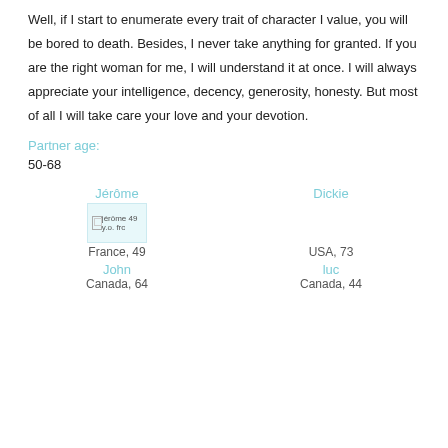Well, if I start to enumerate every trait of character I value, you will be bored to death. Besides, I never take anything for granted. If you are the right woman for me, I will understand it at once. I will always appreciate your intelligence, decency, generosity, honesty. But most of all I will take care your love and your devotion.
Partner age:
50-68
Jérôme
[Figure (photo): Profile photo placeholder for Jérôme, 49 y.o. from France]
France, 49
John
Canada, 64
Dickie
USA, 73
luc
Canada, 44